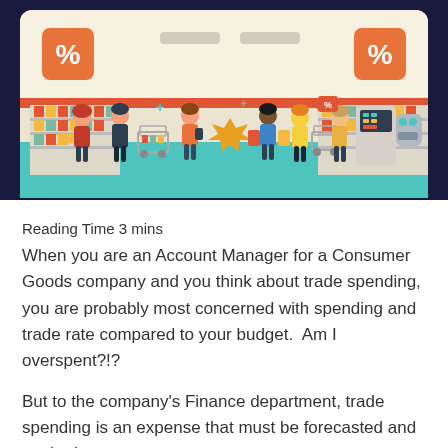[Figure (illustration): A retail/grocery store illustration showing shoppers with carts, shelves stocked with goods, discount percentage signs (orange squares with %), and a self-checkout kiosk. The scene is colorful with teal flooring, cream-colored store interior, and orange/red accent colors. Set against a dark navy background.]
Reading Time 3 mins
When you are an Account Manager for a Consumer Goods company and you think about trade spending, you are probably most concerned with spending and trade rate compared to your budget.  Am I overspent?!?
But to the company's Finance department, trade spending is an expense that must be forecasted and tracked